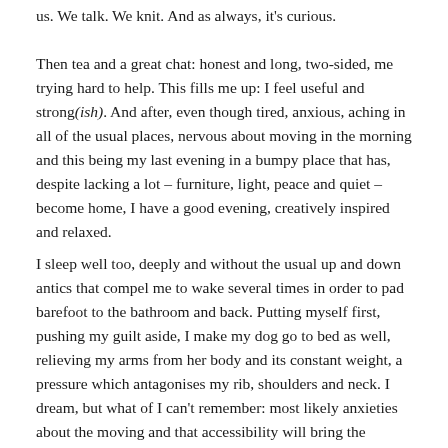us. We talk. We knit. And as always, it's curious.
Then tea and a great chat: honest and long, two-sided, me trying hard to help. This fills me up: I feel useful and strong(ish). And after, even though tired, anxious, aching in all of the usual places, nervous about moving in the morning and this being my last evening in a bumpy place that has, despite lacking a lot – furniture, light, peace and quiet – become home, I have a good evening, creatively inspired and relaxed.
I sleep well too, deeply and without the usual up and down antics that compel me to wake several times in order to pad barefoot to the bathroom and back. Putting myself first, pushing my guilt aside, I make my dog go to bed as well, relieving my arms from her body and its constant weight, a pressure which antagonises my rib, shoulders and neck. I dream, but what of I can't remember: most likely anxieties about the moving and that accessibility will bring the change I